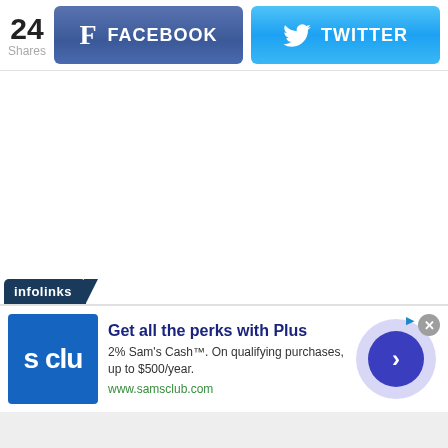24 Shares
[Figure (screenshot): Facebook share button with 'f' icon and FACEBOOK text on blue gradient background]
[Figure (screenshot): Twitter share button with bird icon and TWITTER text on blue gradient background]
[Figure (screenshot): Infolinks advertisement banner for Sam's Club Plus membership: 'Get all the perks with Plus. 2% Sam's Cash™. On qualifying purchases, up to $500/year. www.samsclub.com']